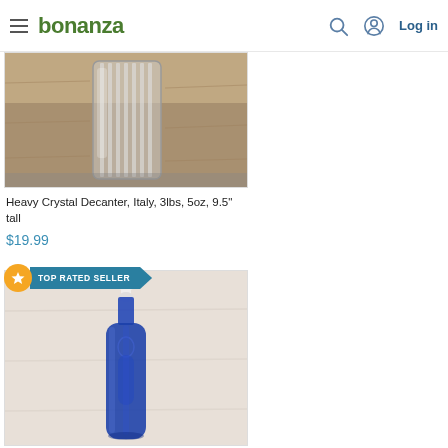bonanza | Log in
[Figure (photo): Photo of a heavy crystal decanter glass, partially cropped, sitting on a wooden surface]
Heavy Crystal Decanter, Italy, 3lbs, 5oz, 9.5" tall
$19.99
[Figure (photo): Photo of a tall cobalt blue glass bottle with a figure (Madonna) embossed on it, with a white stopper on top, labeled TOP RATED SELLER]